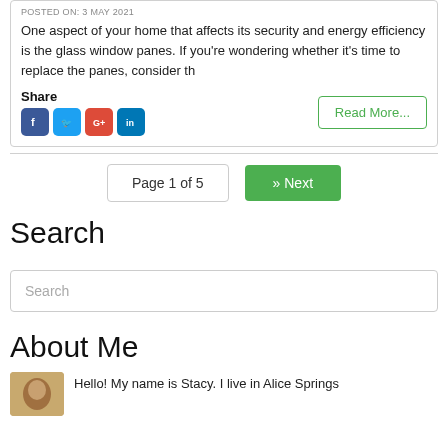POSTED ON: 3 MAY 2021
One aspect of your home that affects its security and energy efficiency is the glass window panes. If you're wondering whether it's time to replace the panes, consider th
Share
Read More...
Page 1 of 5
» Next
Search
Search
About Me
Hello! My name is Stacy. I live in Alice Springs